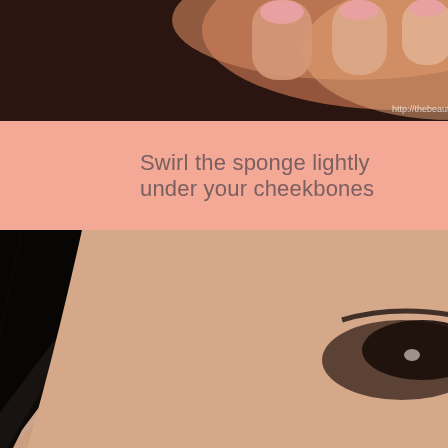[Figure (photo): Close-up photo of fingers holding a makeup sponge, with watermark text 'http://thebeautyaddict.com' in bottom right corner]
Swirl the sponge lightly under your cheekbones
[Figure (photo): Close-up photo of an Asian woman's cheek area showing the cheekbone region, with highlighted spot visible on the cheek, dark hair visible, eye partially visible in upper right]